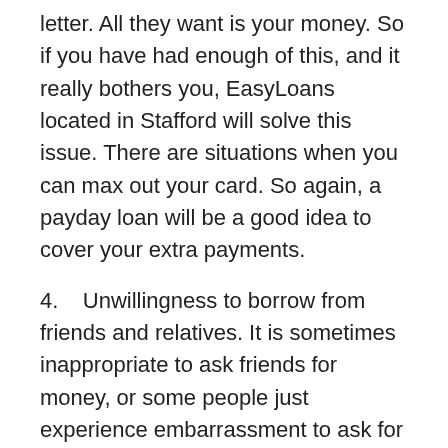letter. All they want is your money. So if you have had enough of this, and it really bothers you, EasyLoans located in Stafford will solve this issue. There are situations when you can max out your card. So again, a payday loan will be a good idea to cover your extra payments.
4.    Unwillingness to borrow from friends and relatives. It is sometimes inappropriate to ask friends for money, or some people just experience embarrassment to ask for some money. If you now face such situation, you should use online loans in Stafford. You now can avoid the awkward situations with your family, and do not even tell them about your financial problems.
5.    Skipping a debt satisfaction will cost a lot. There...